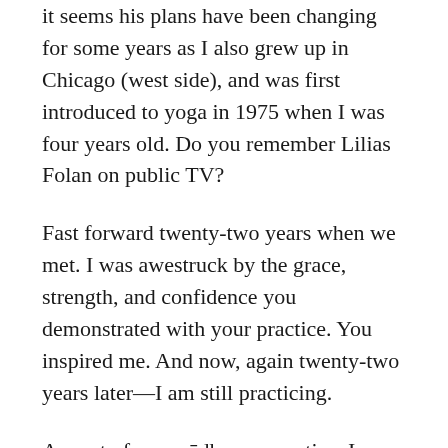it seems his plans have been changing for some years as I also grew up in Chicago (west side), and was first introduced to yoga in 1975 when I was four years old. Do you remember Lilias Folan on public TV?
Fast forward twenty-two years when we met. I was awestruck by the grace, strength, and confidence you demonstrated with your practice. You inspired me. And now, again twenty-two years later—I am still practicing.
As part of my svādhyaya practice, I began journaling as a way to reconcile a long family history of emotional abuse. As you say in your book “…not one of us is immune…”. So true. As I wrote, I found an inner freedom to express my